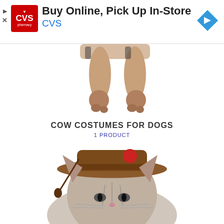[Figure (screenshot): CVS Pharmacy advertisement banner: red CVS logo on left, text 'Buy Online, Pick Up In-Store' and 'CVS' in blue, blue diamond navigation arrow icon on right, with play and close controls on the far left]
[Figure (photo): Bottom portion of a dog wearing a costume, showing the dog's legs and paws on white background]
COW COSTUMES FOR DOGS
1 PRODUCT
[Figure (photo): Cat wearing a brown cowboy hat with a red pompom, looking grumpy, on a white background, partially cropped]